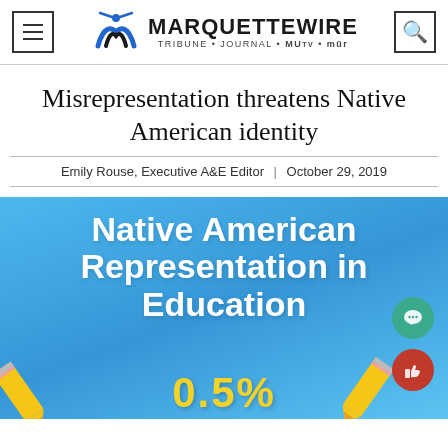MARQUETTE WIRE — TRIBUNE • JOURNAL • MUtv • mür
Misrepresentation threatens Native American identity
Emily Rouse, Executive A&E Editor | October 29, 2019
[Figure (infographic): Infographic with blue background showing bold white text 'Native American Representation in Education' with two yellow pencils at the bottom and '0.5%' in yellow text. Green chat bubble icon and red thumbs-up icon overlaid on lower right.]